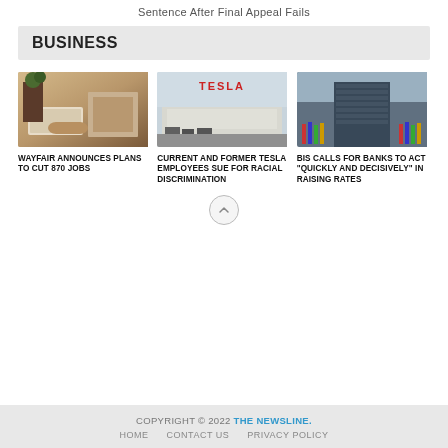Sentence After Final Appeal Fails
BUSINESS
[Figure (photo): Interior photo of a living room with sofa and coffee table]
WAYFAIR ANNOUNCES PLANS TO CUT 870 JOBS
[Figure (photo): Aerial photo of a Tesla facility with Tesla sign]
CURRENT AND FORMER TESLA EMPLOYEES SUE FOR RACIAL DISCRIMINATION
[Figure (photo): Photo of a round glass tower building with flags in front]
BIS CALLS FOR BANKS TO ACT “QUICKLY AND DECISIVELY” IN RAISING RATES
COPYRIGHT © 2022 THE NEWSLINE. HOME CONTACT US PRIVACY POLICY